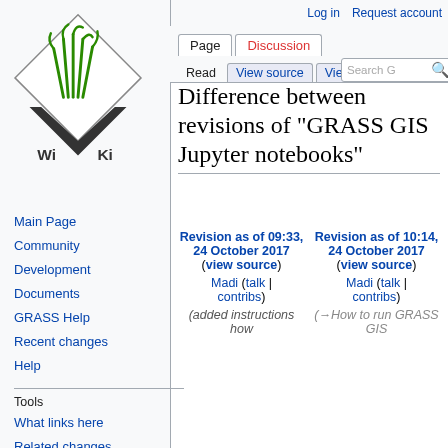Log in  Request account
[Figure (logo): GRASS GIS Wiki logo — diamond shape with green grass illustration and 'Wi Ki' text]
Main Page
Community
Development
Documents
GRASS Help
Recent changes
Help
Tools
What links here
Related changes
Special pages
Printable version
Permanent link
Difference between revisions of "GRASS GIS Jupyter notebooks"
| Revision as of 09:33, 24 October 2017 (view source) | Revision as of 10:14, 24 October 2017 (view source) |
| --- | --- |
| Madi (talk | contribs) | Madi (talk | contribs) |
| (added instructions how | (→How to run GRASS GIS |